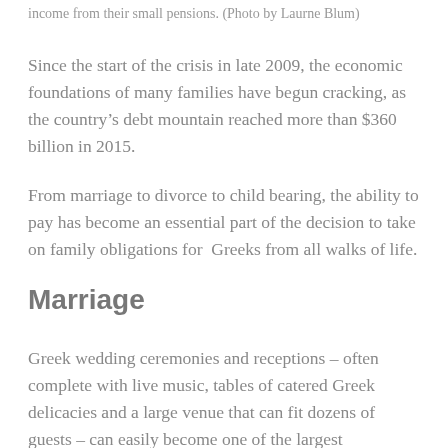income from their small pensions. (Photo by Laurne Blum)
Since the start of the crisis in late 2009, the economic foundations of many families have begun cracking, as the country’s debt mountain reached more than $360 billion in 2015.
From marriage to divorce to child bearing, the ability to pay has become an essential part of the decision to take on family obligations for Greeks from all walks of life.
Marriage
Greek wedding ceremonies and receptions – often complete with live music, tables of catered Greek delicacies and a large venue that can fit dozens of guests – can easily become one of the largest